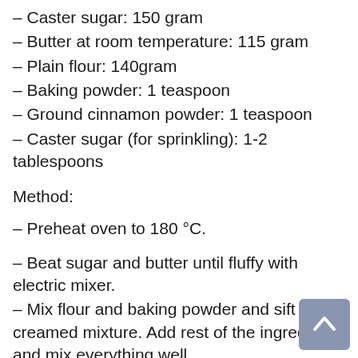– Caster sugar: 150 gram
– Butter at room temperature: 115 gram
– Plain flour: 140gram
– Baking powder: 1 teaspoon
– Ground cinnamon powder: 1 teaspoon
– Caster sugar (for sprinkling): 1-2 tablespoons
Method:
– Preheat oven to 180 °C.
– Beat sugar and butter until fluffy with electric mixer.
– Mix flour and baking powder and sift into creamed mixture. Add rest of the ingredients and mix everything well.